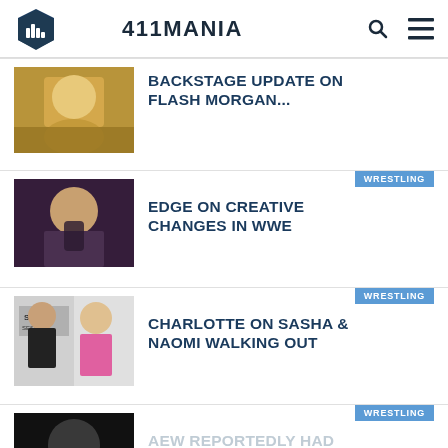411MANIA
[Figure (photo): Thumbnail photo of Flash Morgan Webster]
BACKSTAGE UPDATE ON FLASH MORGAN...
[Figure (photo): Thumbnail photo of Edge holding a microphone]
WRESTLING – EDGE ON CREATIVE CHANGES IN WWE
[Figure (photo): Thumbnail photo of Charlotte Flair at a signing event]
WRESTLING – CHARLOTTE ON SASHA & NAOMI WALKING OUT
[Figure (photo): Thumbnail photo partially visible, dark background]
WRESTLING – AEW REPORTEDLY HAD BIG PLANS FOR...